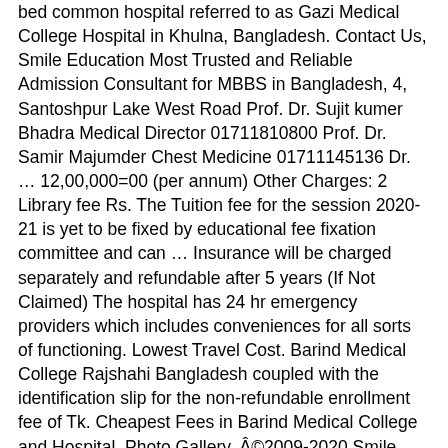bed common hospital referred to as Gazi Medical College Hospital in Khulna, Bangladesh. Contact Us, Smile Education Most Trusted and Reliable Admission Consultant for MBBS in Bangladesh, 4, Santoshpur Lake West Road Prof. Dr. Sujit kumer Bhadra Medical Director 01711810800 Prof. Dr. Samir Majumder Chest Medicine 01711145136 Dr. … 12,00,000=00 (per annum) Other Charges: 2 Library fee Rs. The Tuition fee for the session 2020-21 is yet to be fixed by educational fee fixation committee and can … Insurance will be charged separately and refundable after 5 years (If Not Claimed) The hospital has 24 hr emergency providers which includes conveniences for all sorts of functioning. Lowest Travel Cost. Barind Medical College Rajshahi Bangladesh coupled with the identification slip for the non-refundable enrollment fee of Tk. Cheapest Fees in Barind Medical College and Hospital. Photo Gallery. ©2009-2020 Smile Education MBBS in Bangladesh. Address: 33 Kader Arcade, (4th Floor) Science Laboratory, Dhanmondi 1205 Dhaka, Bangladesh M.D has a course fee of INR 9,90,000 per annum. How to Get